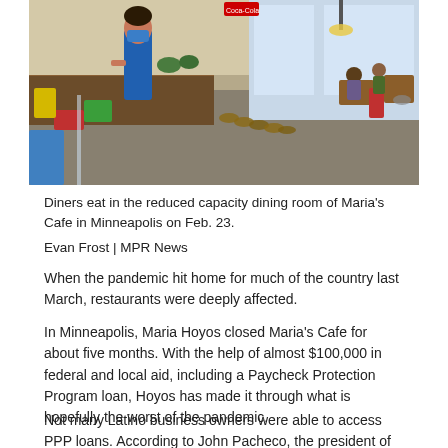[Figure (photo): Interior of Maria's Cafe restaurant showing a masked worker at the counter on the left, colorful bins (red, green, yellow), a long counter with stools, and diners seated at tables in a bright room with large windows in the background.]
Diners eat in the reduced capacity dining room of Maria’s Cafe in Minneapolis on Feb. 23.
Evan Frost | MPR News
When the pandemic hit home for much of the country last March, restaurants were deeply affected.
In Minneapolis, Maria Hoyos closed Maria’s Cafe for about five months. With the help of almost $100,000 in federal and local aid, including a Paycheck Protection Program loan, Hoyos has made it through what is hopefully the worst of the pandemic.
Not many Latino business owners were able to access PPP loans. According to John Pacheco, the president of the Latino Chamber of Commerce in Minnesota, one of the factors in getting a PPP